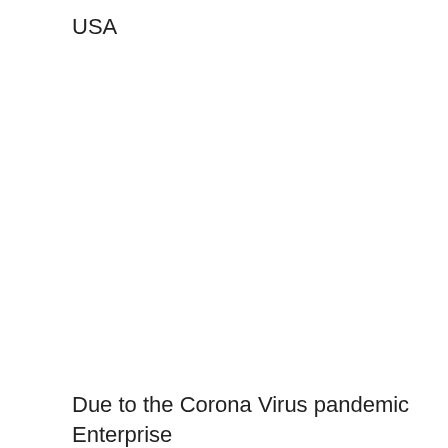USA
Due to the Corona Virus pandemic Enterprise